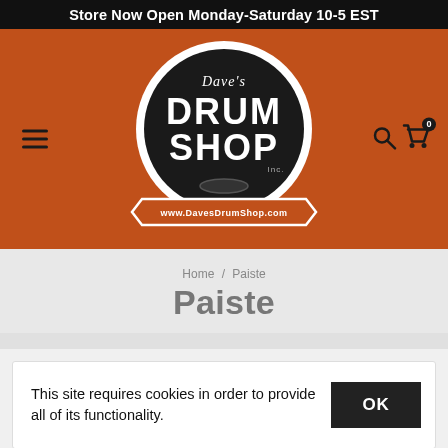Store Now Open Monday-Saturday 10-5 EST
[Figure (logo): Dave's Drum Shop Inc. logo — circular black badge with white text and an orange ribbon banner reading www.DavesDrumShop.com, set on an orange background with hamburger menu icon on left and search/cart icons on right]
Home / Paiste
Paiste
This site requires cookies in order to provide all of its functionality.